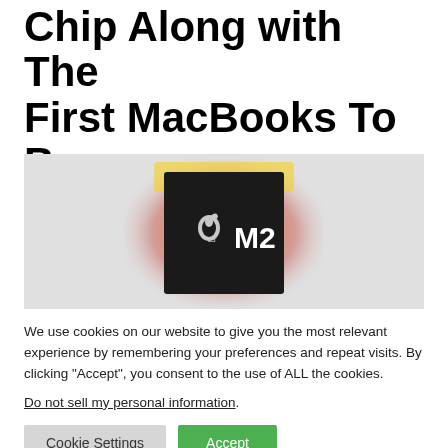Chip Along with The First MacBooks To Be Powered By It
[Figure (photo): Apple M2 chip promotional image showing a dark square chip with glowing orange/yellow gradient background on grey surface, with Apple logo and M2 text in white]
We use cookies on our website to give you the most relevant experience by remembering your preferences and repeat visits. By clicking “Accept”, you consent to the use of ALL the cookies.
Do not sell my personal information.
Cookie Settings  Accept